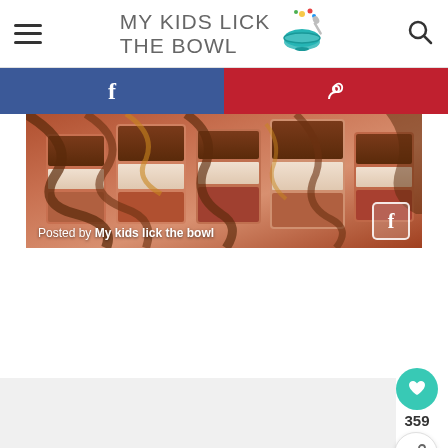MY KIDS LICK THE BOWL
[Figure (screenshot): Website screenshot showing the My Kids Lick The Bowl food blog page with a chocolate-drizzled dessert bars image, Facebook and Pinterest share buttons, a heart/save button with 359 count, and a share button.]